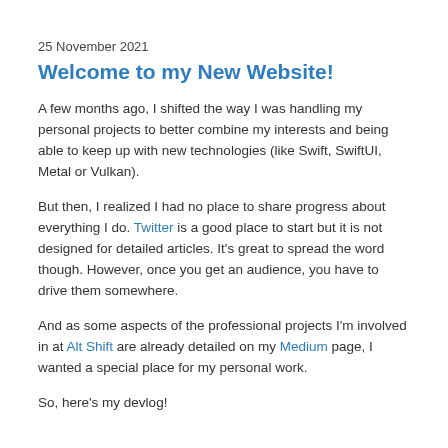25 November 2021
Welcome to my New Website!
A few months ago, I shifted the way I was handling my personal projects to better combine my interests and being able to keep up with new technologies (like Swift, SwiftUI, Metal or Vulkan).
But then, I realized I had no place to share progress about everything I do. Twitter is a good place to start but it is not designed for detailed articles. It’s great to spread the word though. However, once you get an audience, you have to drive them somewhere.
And as some aspects of the professional projects I’m involved in at Alt Shift are already detailed on my Medium page, I wanted a special place for my personal work.
So, here’s my devlog!